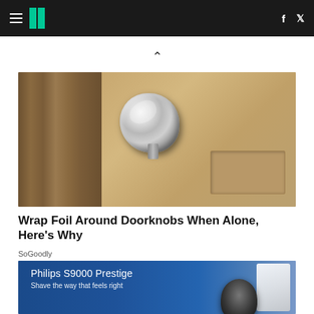HuffPost navigation bar with hamburger menu, logo, Facebook and Twitter icons
[Figure (photo): A door knob wrapped in aluminum foil, close-up photograph]
Wrap Foil Around Doorknobs When Alone, Here's Why
SoGoodly
[Figure (photo): Advertisement for Philips S9000 Prestige shaver. Text reads: Philips S9000 Prestige, Shave the way that feels right. Shows a shaver product on dark blue background.]